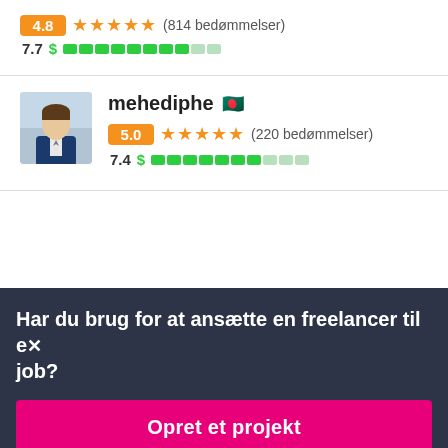4.8 ★★★★★ (814 bedømmelser)
7.7 $ [progress bar]
mehediphe 🇧🇩
5.0 ★★★★★ (220 bedømmelser)
7.4 $ [progress bar]
Har du brug for at ansætte en freelancer til et job?
Opret et projekt